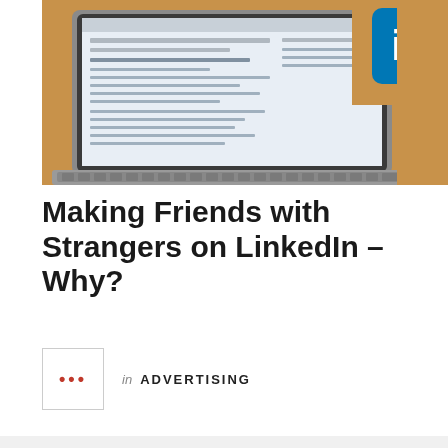[Figure (photo): A laptop computer on a wooden desk displaying the LinkedIn website homepage, with a LinkedIn logo (blue square with white 'in') visible in the upper right area of the screen. The image is cropped and extends to the right edge.]
Making Friends with Strangers on LinkedIn – Why?
... in ADVERTISING